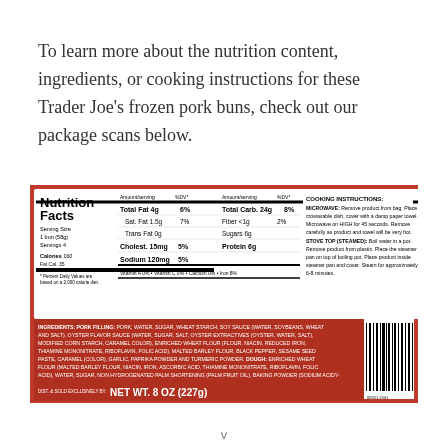To learn more about the nutrition content, ingredients, or cooking instructions for these Trader Joe’s frozen pork buns, check out our package scans below.
[Figure (photo): Nutrition Facts label and cooking instructions from the back of a Trader Joe's frozen pork buns package. Shows serving size 1 bun (58g), servings 4, calories 160, fat cal 35, total fat 4g 6%, sat fat 1.5g 7%, trans fat 0g, cholest 15mg 5%, sodium 120mg 5%, total carb 24g 8%, fiber <1g 2%, sugars 6g, protein 6g, plus cooking instructions for microwave and stove top, plus ingredients list and NET WT. 8 OZ (227g).]